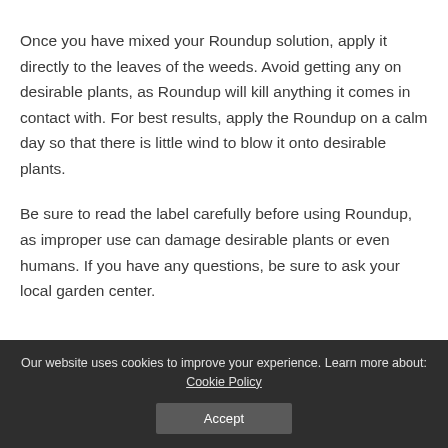Once you have mixed your Roundup solution, apply it directly to the leaves of the weeds. Avoid getting any on desirable plants, as Roundup will kill anything it comes in contact with. For best results, apply the Roundup on a calm day so that there is little wind to blow it onto desirable plants.
Be sure to read the label carefully before using Roundup, as improper use can damage desirable plants or even humans. If you have any questions, be sure to ask your local garden center.
The Benefits of Roundup Weed Control Solutions
Our website uses cookies to improve your experience. Learn more about: Cookie Policy
Accept